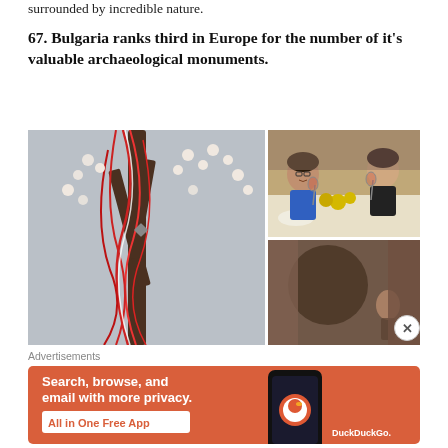surrounded by incredible nature.
67. Bulgaria ranks third in Europe for the number of it's valuable archaeological monuments.
[Figure (photo): Collage of three photos: left - martenitsa red and white threads tied to a blossoming tree branch; top right - two women smiling and toasting with wine at a dining table with food and flowers; bottom right - partially visible photo of a cave or stone interior with a figure.]
Advertisements
[Figure (infographic): DuckDuckGo advertisement banner with orange background. Text reads: Search, browse, and email with more privacy. All in One Free App. Shows a smartphone with DuckDuckGo logo. DuckDuckGo. branding at bottom right.]